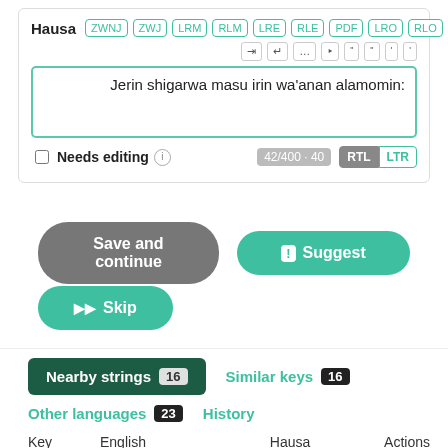Hausa
ZWNJ ZWJ LRM RLM LRE RLE PDF LRO RLO
:Jerin shigarwa masu irin wa'anan alamomin
Needs editing
42/400 · 40
RTL LTR
Save and continue
Suggest
Skip
Nearby strings 16
Similar keys 16
Other languages 23
History
| Key | English | Hausa | Actions |
| --- | --- | --- | --- |